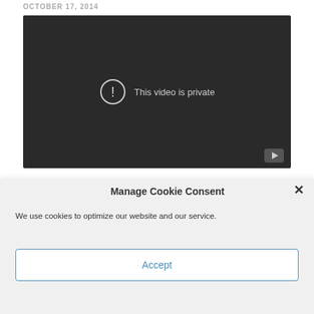OCTOBER 17, 2014
[Figure (screenshot): Embedded YouTube video player showing 'This video is private' message on a dark background, with a YouTube logo icon in the lower right corner.]
Manage Cookie Consent
We use cookies to optimize our website and our service.
Accept